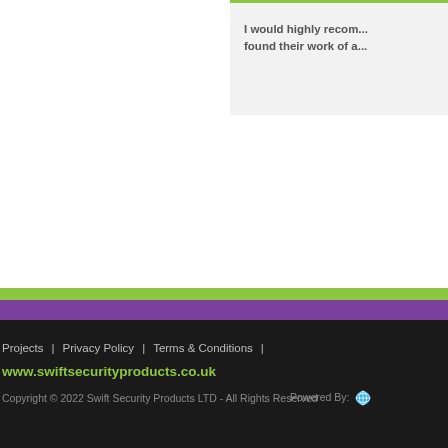I would highly recom... found their work of a...
Projects | Privacy Policy | Terms & Conditions | www.swiftsecurityproducts.co.uk Copyright © 2022 Swift Security Products LTD - All Rights Reserved Powered By: